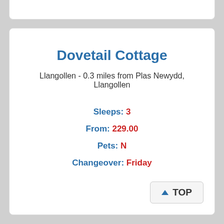Dovetail Cottage
Llangollen - 0.3 miles from Plas Newydd, Llangollen
Sleeps: 3
From: 229.00
Pets: N
Changeover: Friday